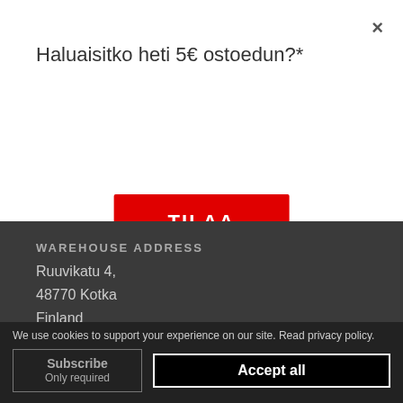×
Haluaisitko heti 5€ ostoedun?*
TILAA
WAREHOUSE ADDRESS
Ruuvikatu 4,
48770 Kotka
Finland
Email
We use cookies to support your experience on our site. Read privacy policy.
Subscribe
Only required
Accept all